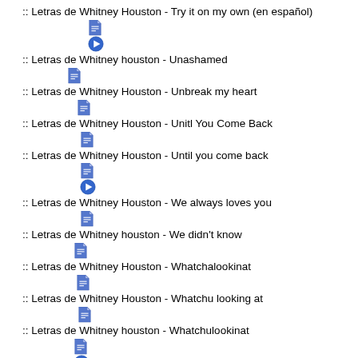:: Letras de Whitney Houston - Try it on my own (en español)
:: Letras de Whitney houston - Unashamed
:: Letras de Whitney Houston - Unbreak my heart
:: Letras de Whitney Houston - Unitl You Come Back
:: Letras de Whitney Houston - Until you come back
:: Letras de Whitney Houston - We always loves you
:: Letras de Whitney houston - We didn't know
:: Letras de Whitney Houston - Whatchalookinat
:: Letras de Whitney Houston - Whatchu looking at
:: Letras de Whitney houston - Whatchulookinat